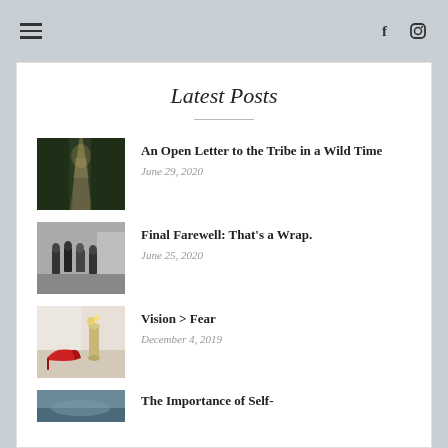Navigation bar with hamburger menu and social icons (Facebook, Instagram)
Latest Posts
[Figure (photo): A road through a forest with sunlight streaming through trees]
An Open Letter to the Tribe in a Wild Time
June 29, 2020
[Figure (photo): Black and white photo of a group of people walking away]
Final Farewell: That's a Wrap.
June 25, 2020
[Figure (photo): Red high heels and decorative items on a table]
Vision > Fear
December 4, 2019
[Figure (photo): Partial view of another post thumbnail]
The Importance of Self-